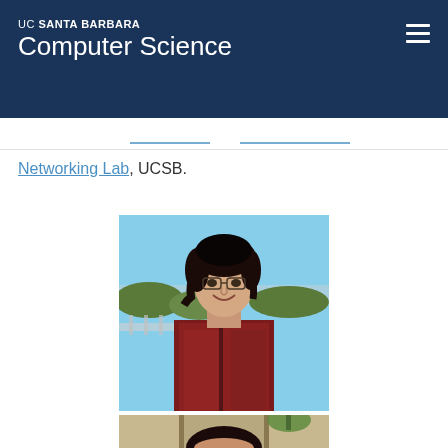UC SANTA BARBARA Computer Science
Networking Lab, UCSB.
[Figure (photo): Portrait photo of a young woman with dark wavy hair, wearing a red/maroon fuzzy jacket and glasses, smiling outdoors against a blue sky and trees background at UCSB.]
[Figure (photo): Partial portrait photo of another person, cropped at bottom of page, with dark hair, in front of a building.]